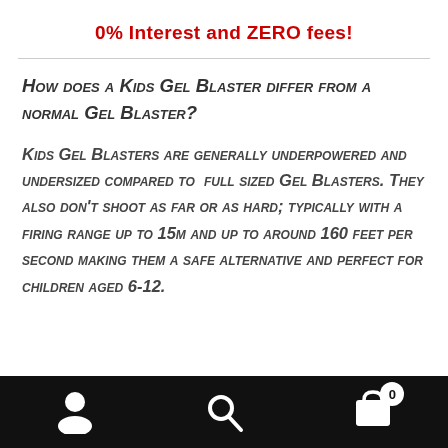0% Interest and ZERO fees!
How does a Kids Gel Blaster differ from a normal Gel Blaster?
Kids Gel Blasters are generally underpowered and undersized compared to full sized Gel Blasters. They also don't shoot as far or as hard; typically with a firing range up to 15m and up to around 160 feet per second making them a safe alternative and perfect for children aged 6-12.